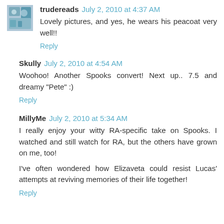trudereads July 2, 2010 at 4:37 AM
Lovely pictures, and yes, he wears his peacoat very well!!
Reply
Skully July 2, 2010 at 4:54 AM
Woohoo! Another Spooks convert! Next up.. 7.5 and dreamy "Pete" :)
Reply
MillyMe July 2, 2010 at 5:34 AM
I really enjoy your witty RA-specific take on Spooks. I watched and still watch for RA, but the others have grown on me, too!
I've often wondered how Elizaveta could resist Lucas' attempts at reviving memories of their life together!
Reply